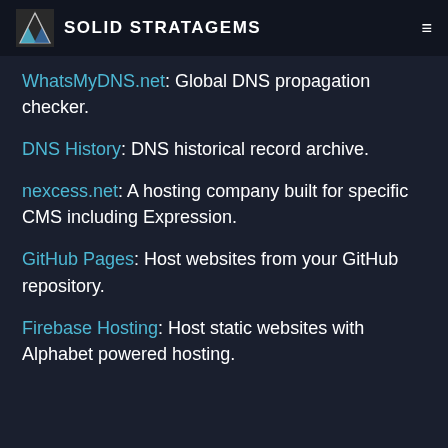Solid Stratagems
WhatsMyDNS.net: Global DNS propagation checker.
DNS History: DNS historical record archive.
nexcess.net: A hosting company built for specific CMS including Expression.
GitHub Pages: Host websites from your GitHub repository.
Firebase Hosting: Host static websites with Alphabet powered hosting.